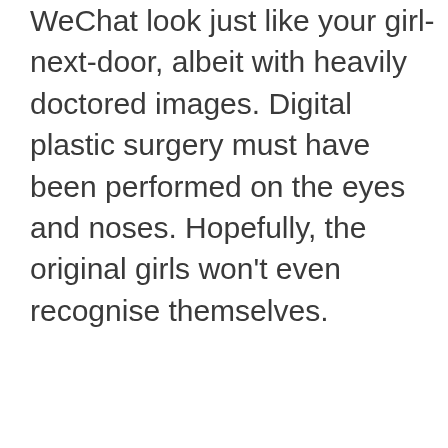WeChat look just like your girl-next-door, albeit with heavily doctored images. Digital plastic surgery must have been performed on the eyes and noses. Hopefully, the original girls won't even recognise themselves.